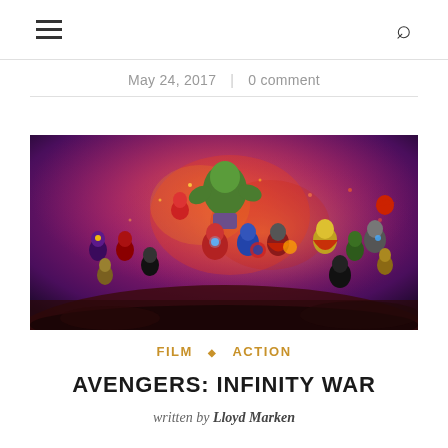≡  🔍
May 24, 2017  |  0 comment
[Figure (photo): Avengers: Infinity War movie promotional poster showing multiple Marvel superhero characters including Hulk, Iron Man, Captain America, Thor, Black Panther, and others against a red and purple cosmic background.]
FILM ◆ ACTION
AVENGERS: INFINITY WAR
written by Lloyd Marken